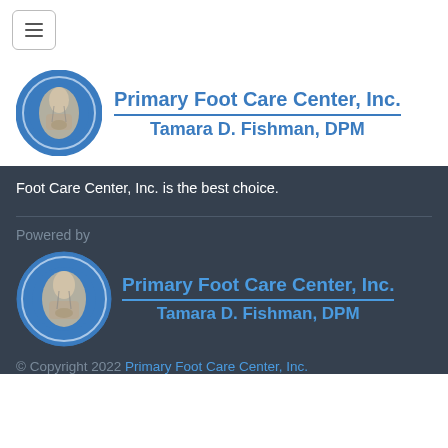[Figure (logo): Hamburger menu button icon with three horizontal lines inside a rounded rectangle border]
[Figure (logo): Primary Foot Care Center, Inc. logo with blue circular foot anatomy illustration and text 'Primary Foot Care Center, Inc.' above a blue divider line and 'Tamara D. Fishman, DPM' below]
Foot Care Center, Inc. is the best choice.
Powered by
[Figure (logo): Primary Foot Care Center, Inc. footer logo with blue circular foot anatomy illustration and text 'Primary Foot Care Center, Inc.' above a blue divider line and 'Tamara D. Fishman, DPM' below, rendered in blue on dark background]
© Copyright 2022 Primary Foot Care Center, Inc.